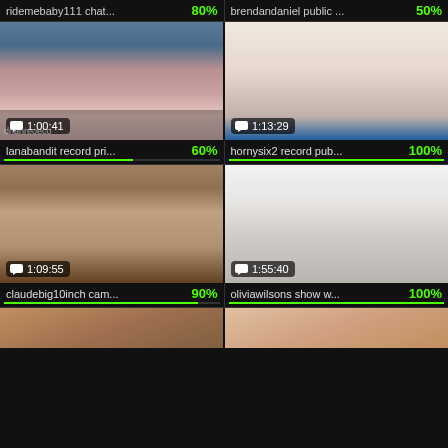ridemebaby111 chat... 80%
brendandaniel public ... 50%
[Figure (photo): Video thumbnail of a young woman with long dark hair, wearing white top, duration badge 1:00:41]
[Figure (photo): Video thumbnail of explicit content, duration badge 1:13:29]
lanabandit record pri... 60%
hornysix2 record pub... 100%
[Figure (photo): Video thumbnail of explicit content with hand, duration badge 1:09:55]
[Figure (photo): Video thumbnail of blonde woman in black lingerie in bright room, duration badge 1:55:40]
claudebig10inch cam... 90%
oliviawilsons show w... 100%